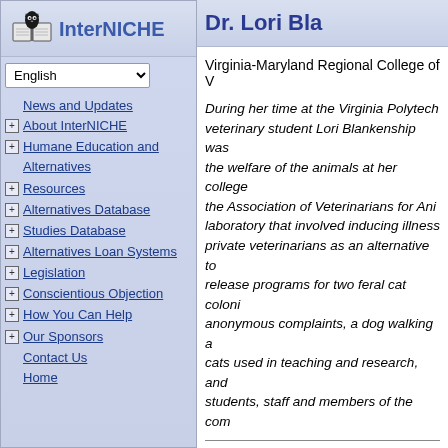[Figure (logo): InterNICHE logo: open book with a black owl/bird figure on top, with the text 'InterNICHE' in blue]
Dr. Lori Bla
Virginia-Maryland Regional College of V
News and Updates
About InterNICHE
Humane Education and Alternatives
Resources
Alternatives Database
Studies Database
Alternatives Loan Systems
Legislation
Conscientious Objection
How You Can Help
Our Sponsors
Contact Us
Home
During her time at the Virginia Polytech... veterinary student Lori Blankenship was... the welfare of the animals at her college... the Association of Veterinarians for Ani... laboratory that involved inducing illness... private veterinarians as an alternative to... release programs for two feral cat colon... anonymous complaints, a dog walking a... cats used in teaching and research, and... students, staff and members of the com...
Blankenship, L, 1999, "Veterinary stud... Medical Ed...
Many students at the Virginia-Maryland... are concerned about animal welfare and... Chapter of the Association of Veterinaria... college, and an Animal Welfare Club. Th... promote animal wellness. These progra... surgeries which are harmful to animals...